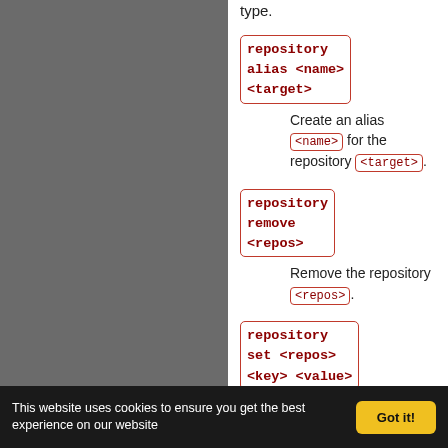type.
repository alias <name> <target>
Create an alias <name> for the repository <target>.
repository remove <repos>
Remove the repository <repos>.
repository set <repos> <key> <value>
This website uses cookies to ensure you get the best experience on our website